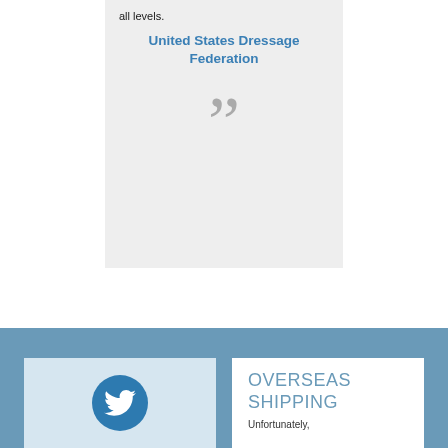all levels.
United States Dressage Federation
[Figure (illustration): Large closing double quotation mark in gray]
[Figure (logo): Twitter bird logo in white on a dark blue circle, inside a light blue card]
OVERSEAS SHIPPING
Unfortunately,